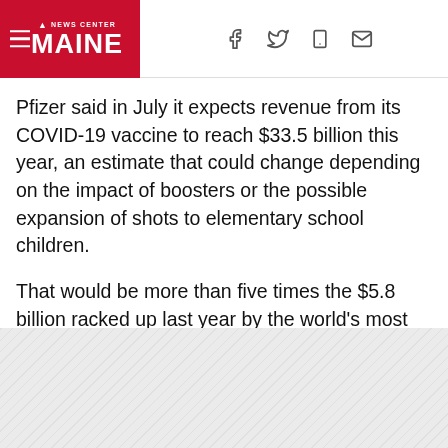NEWS CENTER MAINE
Pfizer said in July it expects revenue from its COVID-19 vaccine to reach $33.5 billion this year, an estimate that could change depending on the impact of boosters or the possible expansion of shots to elementary school children.
That would be more than five times the $5.8 billion racked up last year by the world's most lucrative vaccine — Pfizer's Prevnar13, which protects against pneumococcal disease.
It also would dwarf the $19.8 billion brought in last year by AbbVie's rheumatoid arthritis treatment Humira, widely regarded as the world's top-selling drug.